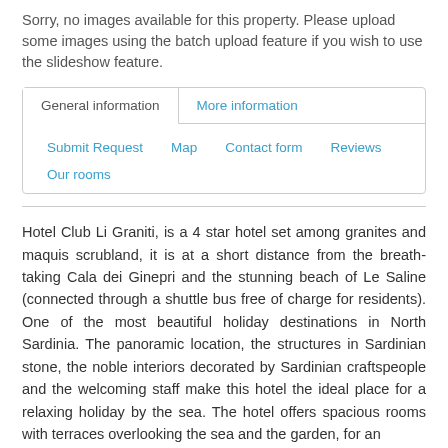Sorry, no images available for this property. Please upload some images using the batch upload feature if you wish to use the slideshow feature.
General information | More information | Submit Request | Map | Contact form | Reviews | Our rooms
Hotel Club Li Graniti, is a 4 star hotel set among granites and maquis scrubland, it is at a short distance from the breath-taking Cala dei Ginepri and the stunning beach of Le Saline (connected through a shuttle bus free of charge for residents). One of the most beautiful holiday destinations in North Sardinia. The panoramic location, the structures in Sardinian stone, the noble interiors decorated by Sardinian craftspeople and the welcoming staff make this hotel the ideal place for a relaxing holiday by the sea. The hotel offers spacious rooms with terraces overlooking the sea and the garden, for an